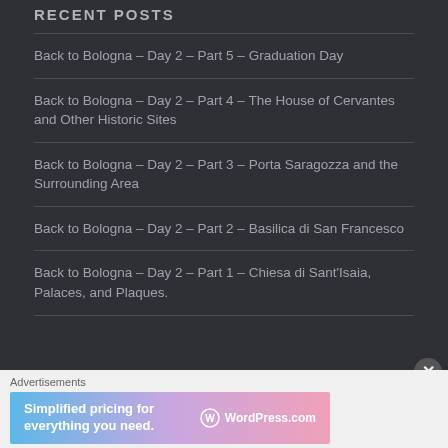RECENT POSTS
Back to Bologna – Day 2 – Part 5 – Graduation Day
Back to Bologna – Day 2 – Part 4 – The House of Cervantes and Other Historic Sites
Back to Bologna – Day 2 – Part 3 – Porta Saragozza and the Surrounding Area
Back to Bologna – Day 2 – Part 2 – Basilica di San Francesco
Back to Bologna – Day 2 – Part 1 – Chiesa di Sant'Isaia, Palaces, and Plaques.
Advertisements
[Figure (screenshot): WordPress.com advertisement banner: 'Simplified pricing for everything you need.' with WordPress.com logo on a blue-to-pink gradient background.]